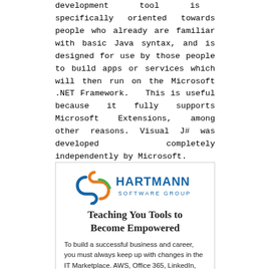development tool is specifically oriented towards people who already are familiar with basic Java syntax, and is designed for use by those people to build apps or services which will then run on the Microsoft .NET Framework. This is useful because it fully supports Microsoft Extensions, among other reasons. Visual J# was developed completely independently by Microsoft.
[Figure (logo): Hartmann Software Group logo with colored cube icon and blue text]
Teaching You Tools to Become Empowered
To build a successful business and career, you must always keep up with changes in the IT Marketplace. AWS, Office 365, LinkedIn, Sales Force, SEO, Social Media